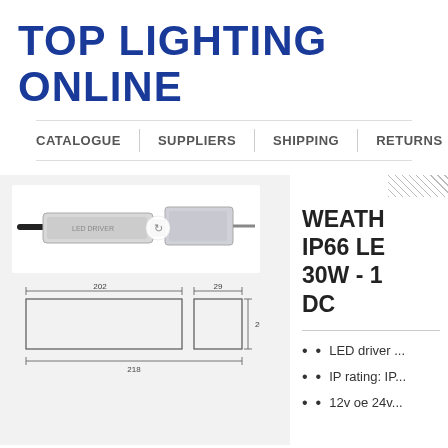TOP LIGHTING ONLINE
CATALOGUE | SUPPLIERS | SHIPPING | RETURNS | ABOUT
[Figure (photo): LED driver product photo (white/silver rectangular device with black cable) and technical dimension diagram showing 202mm, 29mm, 20mm, 218mm measurements]
WEATH... IP66 LE... 30W - 1... DC
LED driver ...
IP rating: IP...
12v oe 24v...